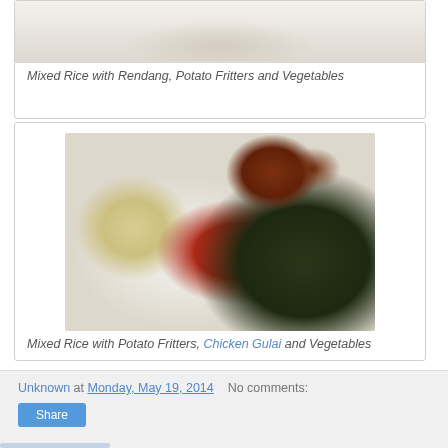[Figure (photo): Top portion of a plate with Mixed Rice with Rendang, Potato Fritters and Vegetables - partially visible at top of page]
Mixed Rice with Rendang, Potato Fritters and Vegetables
[Figure (photo): A white plate with Indonesian mixed rice dish featuring white rice, yellow potato fritters, red sambal/chili, dark green cooked vegetables, and pieces of chicken gulai]
Mixed Rice with Potato Fritters, Chicken Gulai and Vegetables
Unknown at Monday, May 19, 2014    No comments:
Share